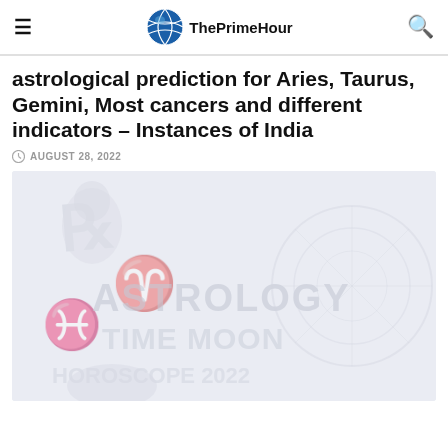≡  ThePrimeHour  🔍
astrological prediction for Aries, Taurus, Gemini, Most cancers and different indicators – Instances of India
AUGUST 28, 2022
[Figure (photo): Faded/watermarked background image with zodiac or astrological themed content, light grey-blue tones]